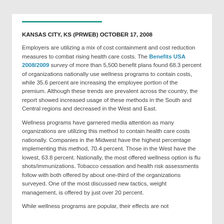KANSAS CITY, KS (PRWEB) OCTOBER 17, 2008
Employers are utilizing a mix of cost containment and cost reduction measures to combat rising health care costs. The Benefits USA 2008/2009 survey of more than 5,500 benefit plans found 68.3 percent of organizations nationally use wellness programs to contain costs, while 35.6 percent are increasing the employee portion of the premium. Although these trends are prevalent across the country, the report showed increased usage of these methods in the South and Central regions and decreased in the West and East.
Wellness programs have garnered media attention as many organizations are utilizing this method to contain health care costs nationally. Companies in the Midwest have the highest percentage implementing this method, 70.4 percent. Those in the West have the lowest, 63.8 percent. Nationally, the most offered wellness option is flu shots/immunizations. Tobacco cessation and health risk assessments follow with both offered by about one-third of the organizations surveyed. One of the most discussed new tactics, weight management, is offered by just over 20 percent.
While wellness programs are popular, their effects are not